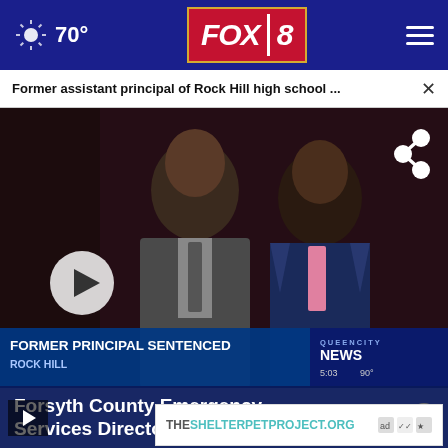FOX 8 — 70°
Former assistant principal of Rock Hill high school ...
[Figure (photo): Two Black men in suits at what appears to be a courthouse or formal proceeding. Lower-third graphic reads: FORMER PRINCIPAL SENTENCED / ROCK HILL. Queen City News bug in bottom right with time 5:03 and 90°.]
Forsyth County Emergency Services Director dies
THESHELTERPETPROJECT.ORG